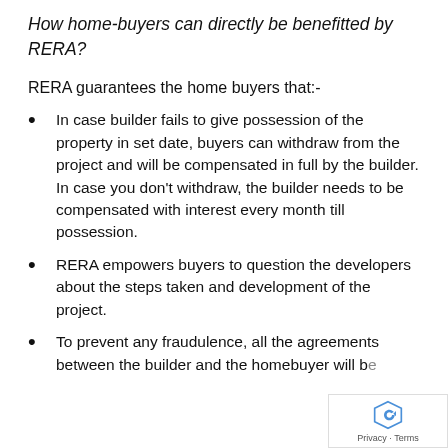How home-buyers can directly be benefitted by RERA?
RERA guarantees the home buyers that:-
In case builder fails to give possession of the property in set date, buyers can withdraw from the project and will be compensated in full by the builder. In case you don't withdraw, the builder needs to be compensated with interest every month till possession.
RERA empowers buyers to question the developers about the steps taken and development of the project.
To prevent any fraudulence, all the agreements between the builder and the homebuyer will be